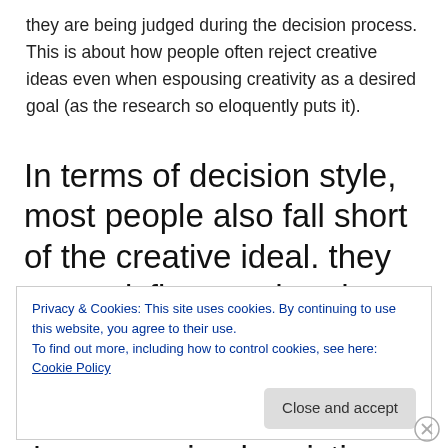they are being judged during the decision process. This is about how people often reject creative ideas even when espousing creativity as a desired goal (as the research so eloquently puts it).
In terms of decision style, most people also fall short of the creative ideal. they are satisficers rather than searcher for the optimal or most desirable solution. They follow a number of energy-saving heuristics
Privacy & Cookies: This site uses cookies. By continuing to use this website, you agree to their use.
To find out more, including how to control cookies, see here: Cookie Policy
Close and accept
decision-making strategies, they